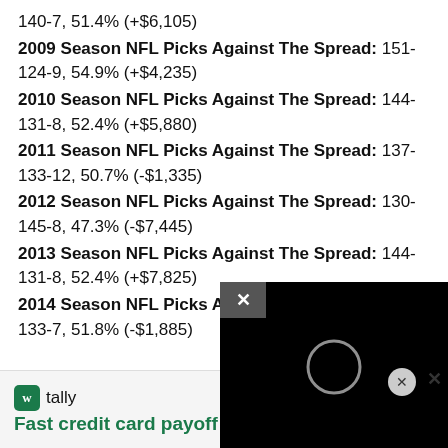140-7, 51.4% (+$6,105)
2009 Season NFL Picks Against The Spread: 151-124-9, 54.9% (+$4,235)
2010 Season NFL Picks Against The Spread: 144-131-8, 52.4% (+$5,880)
2011 Season NFL Picks Against The Spread: 137-133-12, 50.7% (-$1,335)
2012 Season NFL Picks Against The Spread: 130-145-8, 47.3% (-$7,445)
2013 Season NFL Picks Against The Spread: 144-131-8, 52.4% (+$7,825)
2014 Season NFL Picks Against The Spread: 133-7, 51.8% (-$1,885)
[Figure (screenshot): Black video overlay with X close button and loading circle icon]
[Figure (screenshot): Tally advertisement bar: Fast credit card payoff, Download Now button]